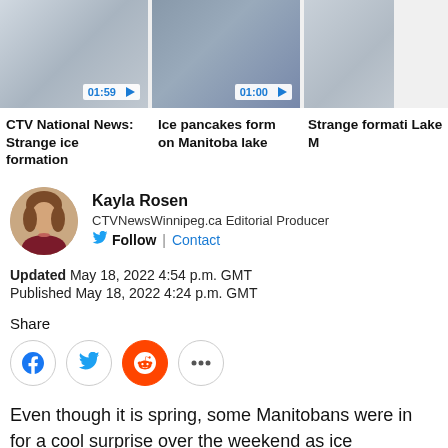[Figure (screenshot): Three video thumbnails in a row showing ice formations. First: '01:59' badge, second: '01:00' badge, third: partially cropped.]
CTV National News: Strange ice formation
Ice pancakes form on Manitoba lake
Strange formation Lake M
[Figure (photo): Circular portrait photo of Kayla Rosen, a woman with medium-length hair]
Kayla Rosen
CTVNewsWinnipeg.ca Editorial Producer
Follow | Contact
Updated May 18, 2022 4:54 p.m. GMT
Published May 18, 2022 4:24 p.m. GMT
Share
Even though it is spring, some Manitobans were in for a cool surprise over the weekend as ice